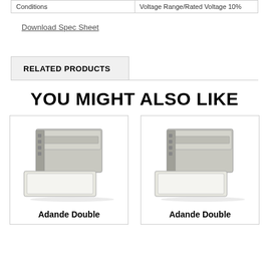| Conditions | Voltage Range/Rated Voltage 10% |
| --- | --- |
Download Spec Sheet
RELATED PRODUCTS
YOU MIGHT ALSO LIKE
[Figure (photo): Adande Double drawer refrigeration unit, stainless steel, with two drawers open]
Adande Double
[Figure (photo): Adande Double drawer refrigeration unit, stainless steel, with two drawers open]
Adande Double